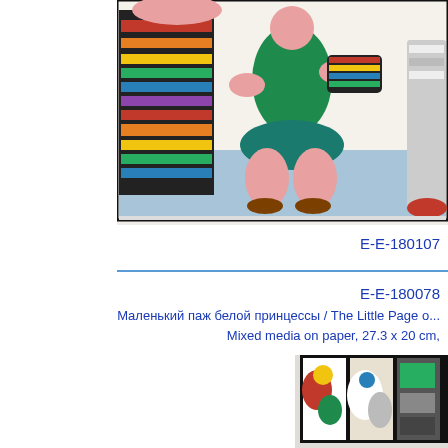[Figure (photo): Colorful painting of dancing figures with striped legs, one figure in a green top with multi-colored striped sleeves, pink body parts, on a light blue floor background. Image is partially cropped at top and right edges.]
E-E-180107
[Figure (other): Blue horizontal divider line]
E-E-180078
Маленький паж белой принцессы / The Little Page o...
Mixed media on paper, 27.3 x 20 cm,
[Figure (photo): Dark framed artwork with colorful abstract figures visible in sections, partially cropped at bottom and right.]